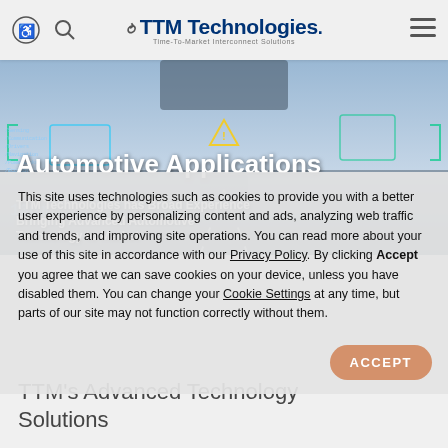TTM Technologies · Time-To-Market Interconnect Solutions
[Figure (photo): Automotive dashboard heads-up display with overlaid AR navigation graphics showing distance, warning icons, and code overlays on a highway driving scene]
Automotive Applications
TTM Technologies has Broad Experience Bringing Advanced Automotive Technology to Market
This site uses technologies such as cookies to provide you with a better user experience by personalizing content and ads, analyzing web traffic and trends, and improving site operations. You can read more about your use of this site in accordance with our Privacy Policy. By clicking Accept you agree that we can save cookies on your device, unless you have disabled them. You can change your Cookie Settings at any time, but parts of our site may not function correctly without them.
ACCEPT
TTM's Advanced Technology Solutions